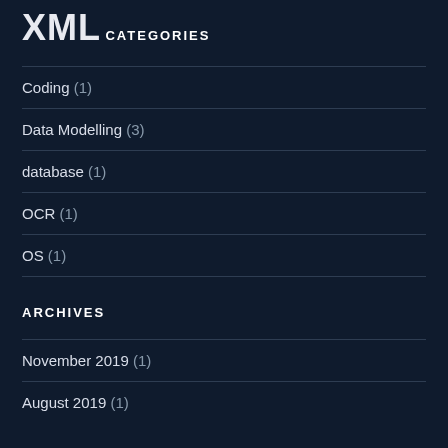XML
CATEGORIES
Coding (1)
Data Modelling (3)
database (1)
OCR (1)
OS (1)
ARCHIVES
November 2019 (1)
August 2019 (1)